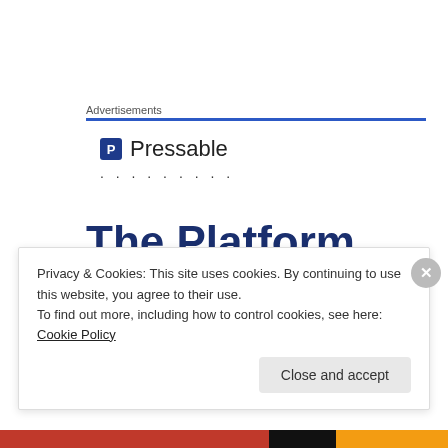Advertisements
[Figure (logo): Pressable logo with icon and dotted line below]
[Figure (infographic): Advertisement banner text: The Platform Where WordPress]
‘Yeah,’ I said. ‘In fact I was on it when I was there. I went over and walked up to Hillton.’
Privacy & Cookies: This site uses cookies. By continuing to use this website, you agree to their use.
To find out more, including how to control cookies, see here: Cookie Policy
Close and accept